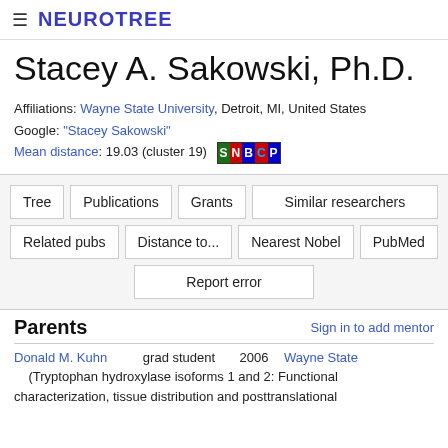≡ NEUROTREE
Stacey A. Sakowski, Ph.D.
Affiliations: Wayne State University, Detroit, MI, United States
Google: "Stacey Sakowski"
Mean distance: 19.03 (cluster 19) SNBCP
Tree | Publications | Grants | Similar researchers | Related pubs | Distance to... | Nearest Nobel | PubMed | Report error
Parents
Sign in to add mentor
Donald M. Kuhn   grad student   2006   Wayne State
(Tryptophan hydroxylase isoforms 1 and 2: Functional characterization, tissue distribution and posttranslational